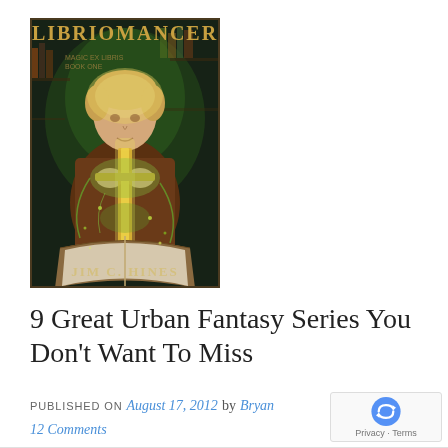[Figure (illustration): Book cover of 'Libriomancer' by Jim C. Hines. A man in a brown jacket holds a glowing sword emerging from an open book, with green magical energy swirling around. The title 'LIBRIOMANCER' appears at the top in stylized fantasy lettering, and 'JIM C. HINES' appears at the bottom.]
9 Great Urban Fantasy Series You Don't Want To Miss
PUBLISHED ON August 17, 2012 by Bryan
12 Comments